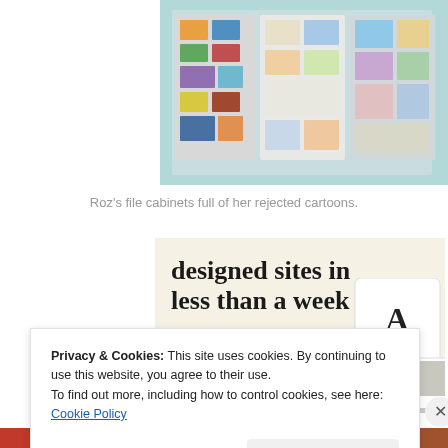[Figure (photo): Photo of Roz's file cabinets full of her rejected cartoons — several open cabinets/boards covered in small cartoon clippings and images]
Roz’s file cabinets full of her rejected cartoons.
[Figure (screenshot): Advertisement banner with cream background showing text 'designed sites in less than a week' with a green 'Explore options' button and mockup images of website designs on the right side]
Privacy & Cookies: This site uses cookies. By continuing to use this website, you agree to their use.
To find out more, including how to control cookies, see here: Cookie Policy